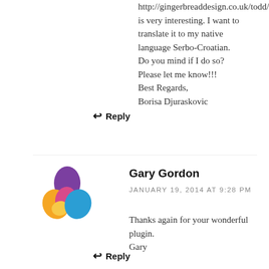http://gingerbreaddesign.co.uk/todd/ is very interesting. I want to translate it to my native language Serbo-Croatian.
Do you mind if I do so?
Please let me know!!!
Best Regards,
Borisa Djuraskovic
↩ Reply
[Figure (logo): Colorful geometric logo with purple, orange, pink, yellow and blue shapes forming an abstract owl-like figure]
Gary Gordon
JANUARY 19, 2014 AT 9:28 PM
Thanks again for your wonderful plugin.
Gary
↩ Reply